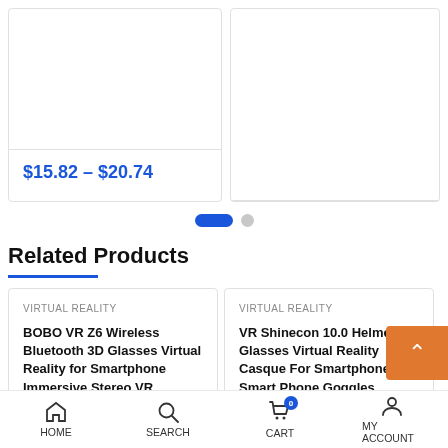$15.82 – $20.74
[Figure (screenshot): Pagination dots: one active elongated blue dot and one inactive grey dot]
Related Products
VIRTUAL REALITY
BOBO VR Z6 Wireless Bluetooth 3D Glasses Virtual Reality for Smartphone Immersive Stereo VR Headset Cardboard For iPhone Android
BOBO VR
VIRTUAL REALITY
VR Shinecon 10.0 Helmet 3D Glasses Virtual Reality Casque For Smartphone Smart Phone Goggles Headset Viar Video Game Binoculars
VR SHINECON
HOME  SEARCH  CART 0  MY ACCOUNT